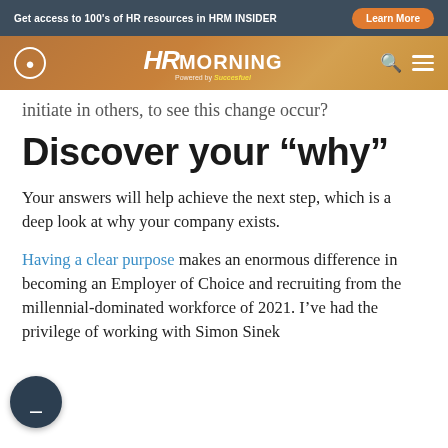Get access to 100's of HR resources in HRM INSIDER | Learn More
[Figure (logo): HR Morning logo with navigation bar, search icon and hamburger menu]
initiate in others, to see this change occur?
Discover your “why”
Your answers will help achieve the next step, which is a deep look at why your company exists.
Having a clear purpose makes an enormous difference in becoming an Employer of Choice and recruiting from the millennial-dominated workforce of 2021. I’ve had the privilege of working with Simon Sinek